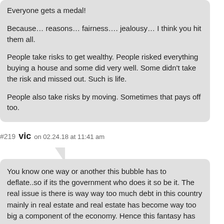Everyone gets a medal!

Because… reasons… fairness…. jealousy… I think you hit them all.

People take risks to get wealthy. People risked everything buying a house and some did very well. Some didn't take the risk and missed out. Such is life.

People also take risks by moving. Sometimes that pays off too.
#219 vic on 02.24.18 at 11:41 am
You know one way or another this bubble has to deflate..so if its the government who does it so be it. The real issue is there is way way too much debt in this country mainly in real estate and real estate has become way too big a component of the economy. Hence this fantasy has to end at some point and there will be a lot of pain and so be it..it should have been dealt with 10 years ago but the bubble was allowed to get even bigger and the bust will be even worse.
I dont have any sympathy for anyone who bought into these markets in the past 10 years and especially people who have second homes in BC..I mean cry me a fricking river..anyone with two homes does not need